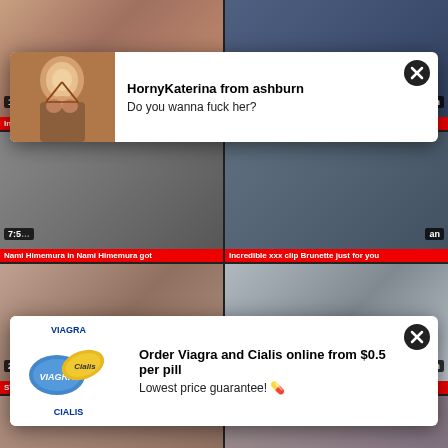[Figure (screenshot): Adult video thumbnail grid with popup advertisements overlay. Top-left thumb shows woman in bikini top, top-right shows office scene. Middle row continues video grid. Bottom row shows two video thumbnails: 'STAR-833 Enomoto Misaki Attack Of A' (2:05, hd) and 'Nurse lala Asian Sex asian' (36:13, asian). Two ad popups overlay the grid: 1) HornyKaterina from ashburn popup with woman photo, 2) Viagra and Cialis advertisement popup.]